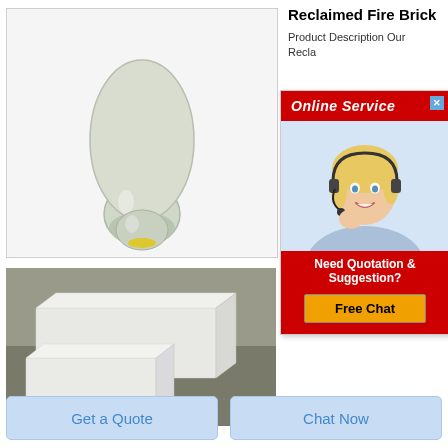[Figure (photo): Photo of a glass flask/vial containing greenish-grey powder material, representing reclaimed fire brick powder material]
Reclaimed Fire Brick
Product Description Our Recla...
[Figure (infographic): Online Service popup with red header, female customer service agent with headset, 'Need Quotation & Suggestion?' text and yellow 'Free Chat' button]
[Figure (photo): Photo of white/light-colored fire bricks stacked on a surface in a warehouse or storage facility]
Get a Quote
Chat Now